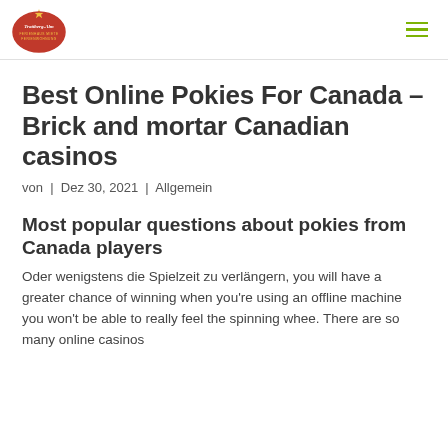Trattberg-Alm
Best Online Pokies For Canada – Brick and mortar Canadian casinos
von | Dez 30, 2021 | Allgemein
Most popular questions about pokies from Canada players
Oder wenigstens die Spielzeit zu verlängern, you will have a greater chance of winning when you're using an offline machine you won't be able to really feel the spinning whee. There are so many online casinos